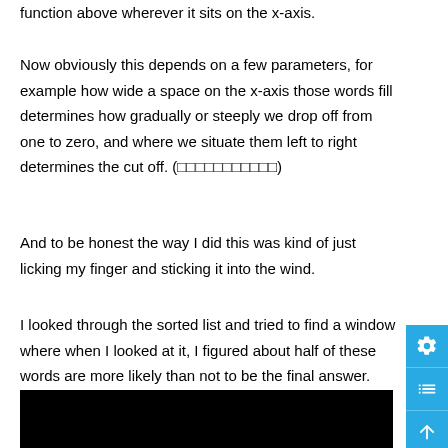function above wherever it sits on the x-axis.
Now obviously this depends on a few parameters, for example how wide a space on the x-axis those words fill determines how gradually or steeply we drop off from one to zero, and where we situate them left to right determines the cut off. (□□□□□□□□□□□)
And to be honest the way I did this was kind of just licking my finger and sticking it into the wind.
I looked through the sorted list and tried to find a window where when I looked at it, I figured about half of these words are more likely than not to be the final answer. And I use that as the cutoff.
[Figure (screenshot): Black bar at bottom of page]